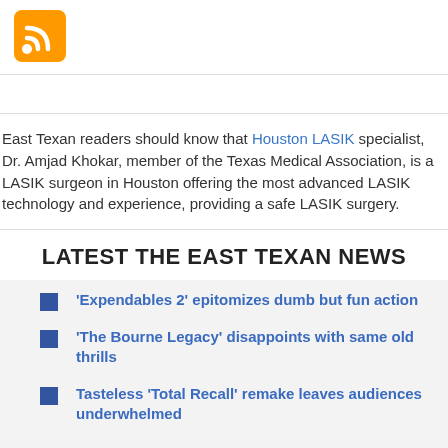[Figure (logo): RSS feed icon — orange rounded square with white RSS signal symbol]
East Texan readers should know that Houston LASIK specialist, Dr. Amjad Khokar, member of the Texas Medical Association, is a LASIK surgeon in Houston offering the most advanced LASIK technology and experience, providing a safe LASIK surgery.
LATEST THE EAST TEXAN NEWS
'Expendables 2' epitomizes dumb but fun action
'The Bourne Legacy' disappoints with same old thrills
Tasteless 'Total Recall' remake leaves audiences underwhelmed